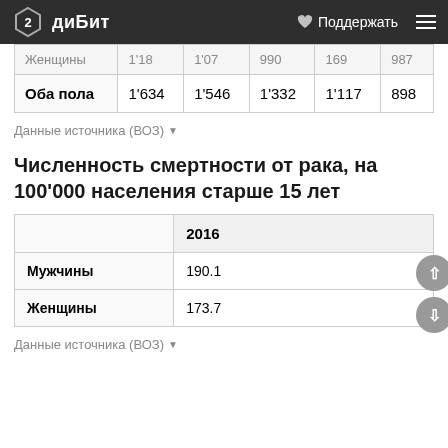2 диБит  ♥ Поддержать  ≡
|  |  |  |  |  |  |
| --- | --- | --- | --- | --- | --- |
| Женщины | 1'18 | 1'07 | 990 | 169 | 987 |
| Оба пола | 1'634 | 1'546 | 1'332 | 1'117 | 898 |
Данные источника (ВОЗ) ▾
Численность смертности от рака, на 100'000 населения старше 15 лет
|  | 2016 |
| --- | --- |
| Мужчины | 190.1 |
| Женщины | 173.7 |
Данные источника (ВОЗ) ▾